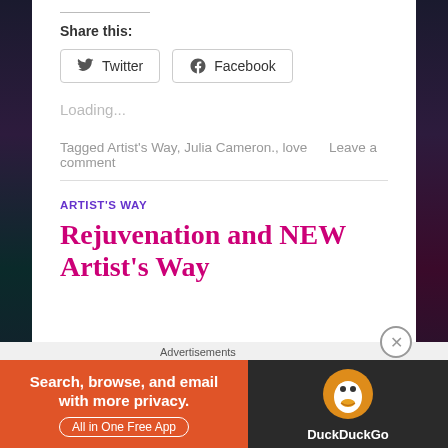Share this:
[Figure (screenshot): Twitter and Facebook share buttons]
Loading...
Tagged Artist's Way, Julia Cameron., love   Leave a comment
ARTIST'S WAY
Rejuvenation and NEW Artist's Way
Advertisements
[Figure (screenshot): DuckDuckGo advertisement banner: Search, browse, and email with more privacy. All in One Free App]